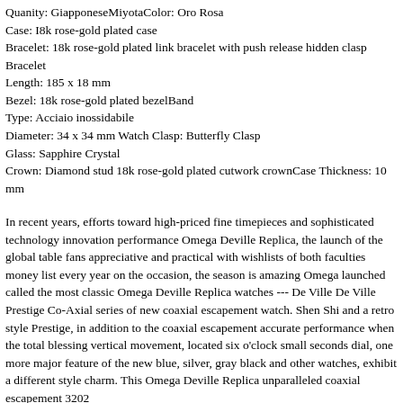Quanity: Giapponese MiyotaColor: Oro Rosa
Case: I8k rose-gold plated case
Bracelet: 18k rose-gold plated link bracelet with push release hidden clasp Bracelet
Length: 185 x 18 mm
Bezel: 18k rose-gold plated bezelBand
Type: Acciaio inossidabile
Diameter: 34 x 34 mm Watch Clasp: Butterfly Clasp
Glass: Sapphire Crystal
Crown: Diamond stud 18k rose-gold plated cutwork crownCase Thickness: 10 mm
In recent years, efforts toward high-priced fine timepieces and sophisticated technology innovation performance Omega Deville Replica, the launch of the global table fans appreciative and practical with wishlists of both faculties money list every year on the occasion, the season is amazing Omega launched called the most classic Omega Deville Replica watches --- De Ville De Ville Prestige Co-Axial series of new coaxial escapement watch. Shen Shi and a retro style Prestige, in addition to the coaxial escapement accurate performance when the total blessing vertical movement, located six o'clock small seconds dial, one more major feature of the new blue, silver, gray black and other watches, exhibit a different style charm. This Omega Deville Replica unparalleled coaxial escapement 3202...